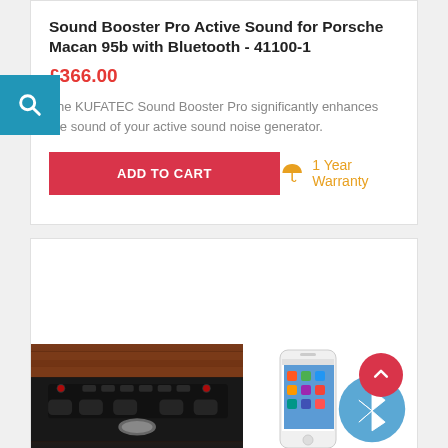Sound Booster Pro Active Sound for Porsche Macan 95b with Bluetooth - 41100-1
£366.00
The KUFATEC Sound Booster Pro significantly enhances the sound of your active sound noise generator.
ADD TO CART
1 Year Warranty
[Figure (photo): Car radio/infotainment console and a smartphone with Bluetooth icon, product images for Sound Booster Pro]